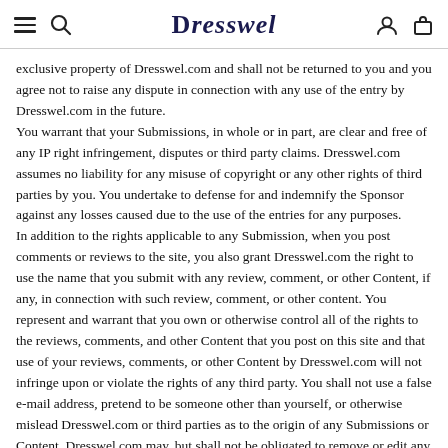Dresswel
exclusive property of Dresswel.com and shall not be returned to you and you agree not to raise any dispute in connection with any use of the entry by Dresswel.com in the future.
You warrant that your Submissions, in whole or in part, are clear and free of any IP right infringement, disputes or third party claims. Dresswel.com assumes no liability for any misuse of copyright or any other rights of third parties by you. You undertake to defense for and indemnify the Sponsor against any losses caused due to the use of the entries for any purposes.
In addition to the rights applicable to any Submission, when you post comments or reviews to the site, you also grant Dresswel.com the right to use the name that you submit with any review, comment, or other Content, if any, in connection with such review, comment, or other content. You represent and warrant that you own or otherwise control all of the rights to the reviews, comments, and other Content that you post on this site and that use of your reviews, comments, or other Content by Dresswel.com will not infringe upon or violate the rights of any third party. You shall not use a false e-mail address, pretend to be someone other than yourself, or otherwise mislead Dresswel.com or third parties as to the origin of any Submissions or Content. Dresswel.com may, but shall not be obligated to remove or edit any Submissions (including comments or reviews) for any reason.